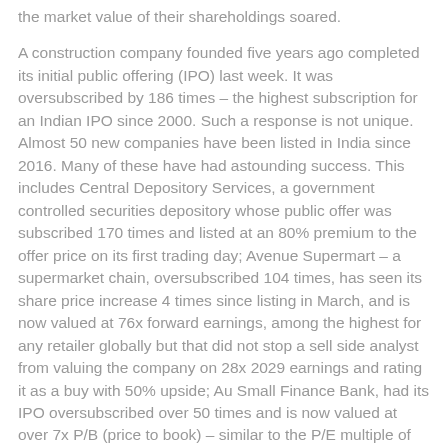the market value of their shareholdings soared.
A construction company founded five years ago completed its initial public offering (IPO) last week. It was oversubscribed by 186 times – the highest subscription for an Indian IPO since 2000. Such a response is not unique. Almost 50 new companies have been listed in India since 2016. Many of these have had astounding success. This includes Central Depository Services, a government controlled securities depository whose public offer was subscribed 170 times and listed at an 80% premium to the offer price on its first trading day; Avenue Supermart – a supermarket chain, oversubscribed 104 times, has seen its share price increase 4 times since listing in March, and is now valued at 76x forward earnings, among the highest for any retailer globally but that did not stop a sell side analyst from valuing the company on 28x 2029 earnings and rating it as a buy with 50% upside; Au Small Finance Bank, had its IPO oversubscribed over 50 times and is now valued at over 7x P/B (price to book) – similar to the P/E multiple of some of its regional peers.